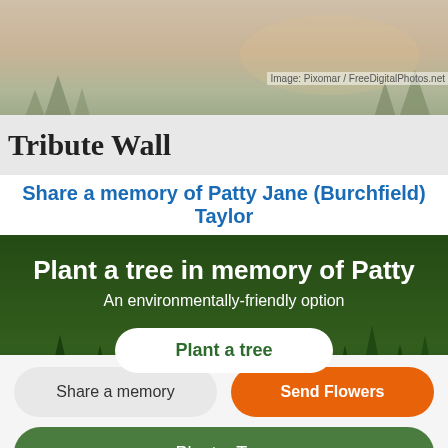[Figure (photo): Outdoor sunset/forest background photo at the top of the page]
Image: Pixomar / FreeDigitalPhotos.net
Tribute Wall
Share a memory of Patty Jane (Burchfield) Taylor
[Figure (photo): Forest/evergreen tree background behind 'Plant a tree in memory of Patty' section]
Plant a tree in memory of Patty
An environmentally-friendly option
Plant a tree
Share a memory
Send Flowers
Plant a Tree